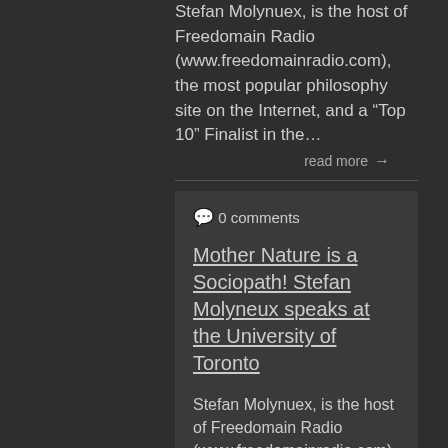Stefan Molynuex, is the host of Freedomain Radio (www.freedomainradio.com), the most popular philosophy site on the Internet, and a “Top 10” Finalist in the…
read more →
0 comments
Mother Nature is a Sociopath! Stefan Molyneux speaks at the University of Toronto
Stefan Molynuex, is the host of Freedomain Radio (www.freedomainradio.com), th…